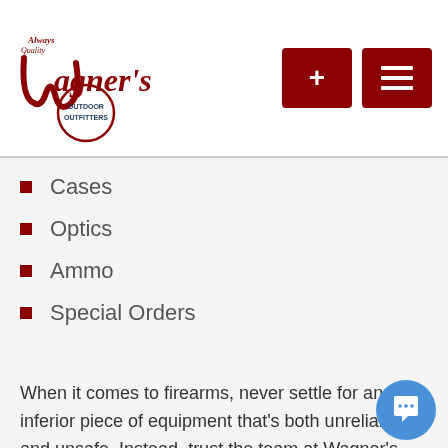[Figure (logo): Wagner's Outdoor Outfitters logo in red cursive script with 'Always Quality' above and 'OUTDOOR OUTFITTERS' below in a circular badge style]
Cases
Optics
Ammo
Special Orders
When it comes to firearms, never settle for an inferior piece of equipment that's both unreliable and unsafe. Instead, trust the team at Wagner's Outdoor Outfitters to steer you in the right direction. Visit our storefront in Casper, WY today to shop some of the top names in the industry.